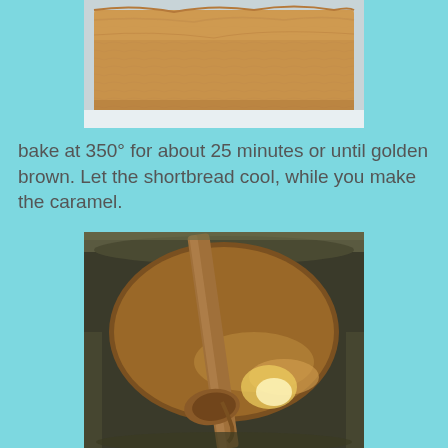[Figure (photo): Photo of golden brown baked shortbread on a white surface]
bake at 350° for about 25 minutes or until golden brown. Let the shortbread cool, while you make the caramel.
[Figure (photo): Photo of caramel being stirred in a metal pot with a wooden spoon]